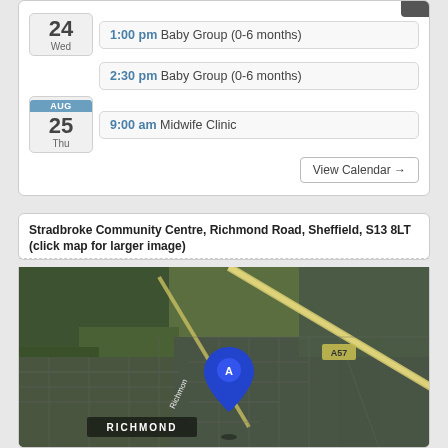1:00 pm Baby Group (0-6 months) — Wed 24
2:30 pm Baby Group (0-6 months) — Wed 24
9:00 am Midwife Clinic — Thu AUG 25
View Calendar →
Stradbroke Community Centre, Richmond Road, Sheffield, S13 8LT (click map for larger image)
[Figure (map): Satellite/aerial map showing Stradbroke Community Centre location at Richmond Road, Sheffield S13 8LT. A blue map pin labeled 'A' marks the location. Road label 'Richmond' visible, road A57 labeled on a main road to the northeast.]